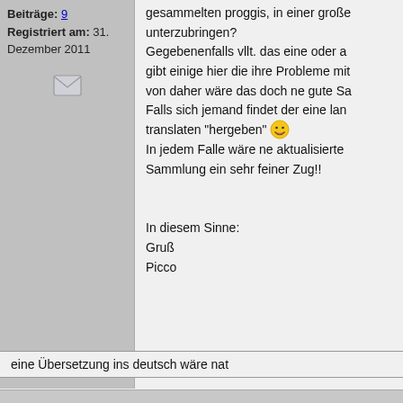Beiträge: 9
Registriert am: 31. Dezember 2011
[Figure (illustration): Mail/envelope icon in a grey sidebar]
gesammelten proggis, in einer große unterzubringen?
Gegebenenfalls vllt. das eine oder a gibt einige hier die ihre Probleme mit von daher wäre das doch ne gute Sa Falls sich jemand findet der eine lan translaten "hergeben" 😁
In jedem Falle wäre ne aktualisierte Sammlung ein sehr feiner Zug!!
In diesem Sinne:
Gruß
Picco
eine Übersetzung ins deutsch wäre nat
... ansonsten 1a Sache !!!!!!!!!!!!!!!!!!!!!!!!!